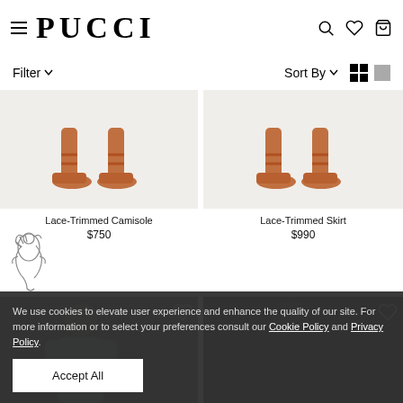PUCCI — navigation header with hamburger menu, logo, search, wishlist, and bag icons
Filter ∨     Sort By ∨ [grid view] [list view]
[Figure (photo): Product photo of Lace-Trimmed Camisole shoes/heels on light beige background]
Lace-Trimmed Camisole
$750
[Figure (photo): Product photo of Lace-Trimmed Skirt shoes/heels on light beige background]
Lace-Trimmed Skirt
$990
[Figure (illustration): Small decorative dragon/seahorse illustration in outline style]
[Figure (photo): Product photo row 2 left — model wearing colorful outfit]
[Figure (photo): Product photo row 2 right — model wearing dark jacket]
We use cookies to elevate user experience and enhance the quality of our site. For more information or to select your preferences consult our Cookie Policy and Privacy Policy.
Accept All